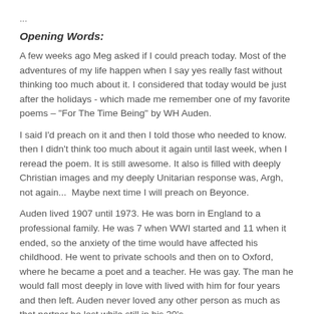...
Opening Words:
A few weeks ago Meg asked if I could preach today. Most of the adventures of my life happen when I say yes really fast without thinking too much about it. I considered that today would be just after the holidays - which made me remember one of my favorite poems – "For The Time Being" by WH Auden.
I said I'd preach on it and then I told those who needed to know.  then I didn't think too much about it again until last week, when I reread the poem. It is still awesome. It also is filled with deeply Christian images and my deeply Unitarian response was, Argh, not again...  Maybe next time I will preach on Beyonce.
Auden lived 1907 until 1973. He was born in England to a professional family. He was 7 when WWI started and 11 when it ended, so the anxiety of the time would have affected his childhood. He went to private schools and then on to Oxford, where he became a poet and a teacher. He was gay. The man he would fall most deeply in love with lived with him for four years and then left. Auden never loved any other person as much as that partner he lost while still in his 30's.